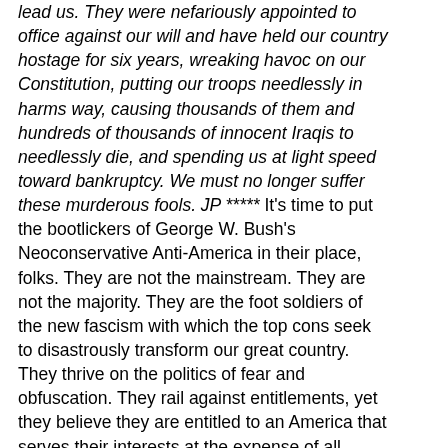lead us. They were nefariously appointed to office against our will and have held our country hostage for six years, wreaking havoc on our Constitution, putting our troops needlessly in harms way, causing thousands of them and hundreds of thousands of innocent Iraqis to needlessly die, and spending us at light speed toward bankruptcy. We must no longer suffer these murderous fools. JP ***** It's time to put the bootlickers of George W. Bush's Neoconservative Anti-America in their place, folks. They are not the mainstream. They are not the majority. They are the foot soldiers of the new fascism with which the top cons seek to disastrously transform our great country. They thrive on the politics of fear and obfuscation. They rail against entitlements, yet they believe they are entitled to an America that serves their interests at the expense of all others. There can be no doubt that the actions and attitudes of these wholesale frauds have the true patriots of the American Revolution spinning in their graves. The Perpetraitors